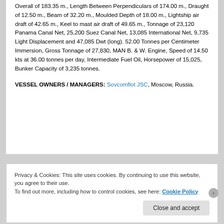Overall of 183.35 m., Length Between Perpendiculars of 174.00 m., Draught of 12.50 m., Beam of 32.20 m., Moulded Depth of 18.00 m., Lightship air draft of 42.65 m., Keel to mast air draft of 49.65 m., Tonnage of 23,120 Panama Canal Net, 25,200 Suez Canal Net, 13,085 International Net, 9,735 Light Displacement and 47,085 Dwt (long). 52.00 Tonnes per Centimeter Immersion, Gross Tonnage of 27,830, MAN B. & W. Engine, Speed of 14.50 kts at 36.00 tonnes per day, Intermediate Fuel Oil, Horsepower of 15,025, Bunker Capacity of 3,235 tonnes.
VESSEL OWNERS / MANAGERS: Sovcomflot JSC, Moscow, Russia.
Privacy & Cookies: This site uses cookies. By continuing to use this website, you agree to their use. To find out more, including how to control cookies, see here: Cookie Policy